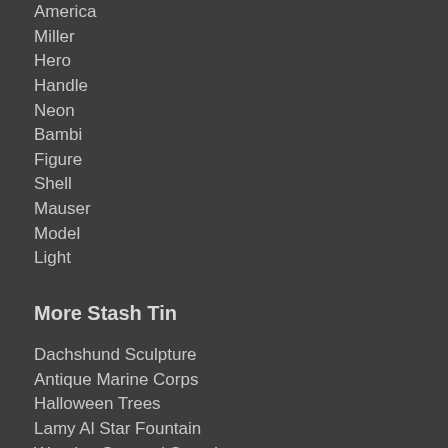America
Miller
Hero
Handle
Neon
Bambi
Figure
Shell
Mauser
Model
Light
More Stash Tin
Dachshund Sculpture
Antique Marine Corps
Halloween Trees
Lamy Al Star Fountain
Wooden Samurai Sword
Rabbit Teapot
Sea Shell Mirror
Abra Pokemon
Donald Duck Rubber